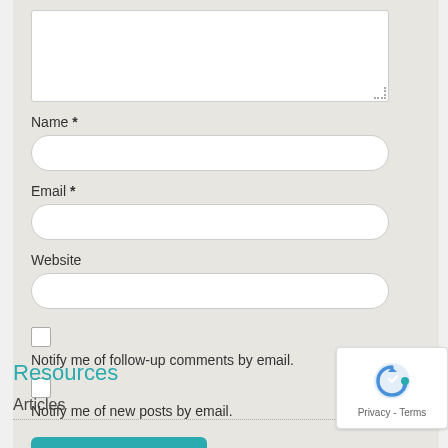Name *
Email *
Website
Notify me of follow-up comments by email.
Notify me of new posts by email.
Post Comment
Resources
Articles
[Figure (other): reCAPTCHA badge with logo and Privacy - Terms text]